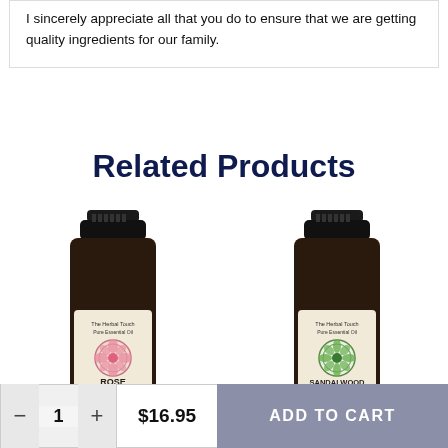I sincerely appreciate all that you do to ensure that we are getting quality ingredients for our family.
Related Products
[Figure (photo): Small dark glass bottle of Rose essential oil with cream label showing rose mandala design, The Herbal Touch Pure Essential Oil branding, ROSE label, Rosa x centifolia, 5 ml]
[Figure (photo): Small dark glass bottle of Sandalwood essential oil with cream label showing green mandala design, The Herbal Touch Pure Essential Oil branding, SANDALWOOD label, Santalum spicatum, 5 ml]
1  $16.95  ADD TO CART